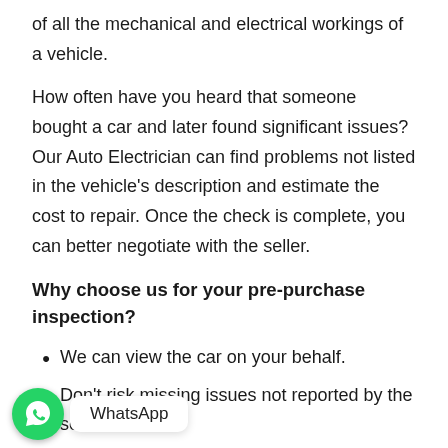of all the mechanical and electrical workings of a vehicle.
How often have you heard that someone bought a car and later found significant issues? Our Auto Electrician can find problems not listed in the vehicle's description and estimate the cost to repair. Once the check is complete, you can better negotiate with the seller.
Why choose us for your pre-purchase inspection?
We can view the car on your behalf.
Don't risk missing issues not reported by the seller.
[Figure (screenshot): WhatsApp chat button overlay with green WhatsApp icon and 'WhatsApp' tooltip label]